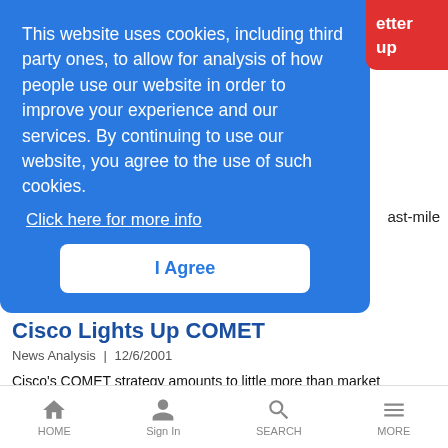This website uses cookies, including third party ones, to allow for analysis of how people use our website in order to improve your experience and our services. By continuing to use our website, you agree to the use of such cookies. Click here for more info
I Agree
ast-mile
Cisco Lights Up COMET
News Analysis | 12/6/2001
Cisco's COMET strategy amounts to little more than market repositioning -- but it was enough to impress Wall Street
Intel Invests in Scottish Foundry
HOME  Sign In  SEARCH  MORE